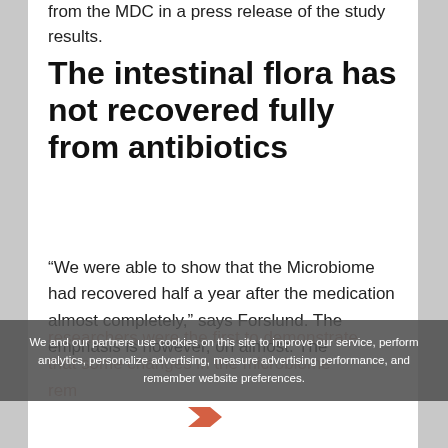from the MDC in a press release of the study results.
The intestinal flora has not recovered fully from antibiotics
“We were able to show that the Microbiome had recovered half a year after the medication almost completely,” says Forslund. The emphasis is however, on almost. The researchers were the first to demonstrate that some changes in the microbiome remained.
We and our partners use cookies on this site to improve our service, perform analytics, personalize advertising, measure advertising performance, and remember website preferences.